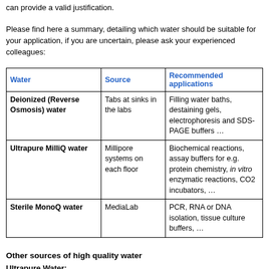can provide a valid justification.
Please find here a summary, detailing which water should be suitable for your application, if you are uncertain, please ask your experienced colleagues:
| Water | Source | Recommended applications |
| --- | --- | --- |
| Deionized (Reverse Osmosis) water | Tabs at sinks in the labs | Filling water baths, destaining gels, electrophoresis and SDS-PAGE buffers … |
| Ultrapure MilliQ water | Millipore systems on each floor | Biochemical reactions, assay buffers for e.g. protein chemistry, in vitro enzymatic reactions, CO2 incubators, … |
| Sterile MonoQ water | MediaLab | PCR, RNA or DNA isolation, tissue culture buffers, … |
Other sources of high quality water
Ultrapure Water:
The MilliQ-systems on the floors provide ultrapure water; in fact, the same quality as the water from the MediaLab. These machines are regularly